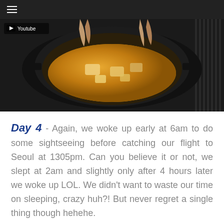≡
[Figure (photo): A black stone pot (dolsot) filled with yellow soup/broth and chunks of food on a dark grill surface, with hands visible at top. A YouTube badge overlay is present in the top-left corner.]
Day 4 - Again, we woke up early at 6am to do some sightseeing before catching our flight to Seoul at 1305pm. Can you believe it or not, we slept at 2am and slightly only after 4 hours later we woke up LOL. We didn't want to waste our time on sleeping, crazy huh?! But never regret a single thing though hehehe.